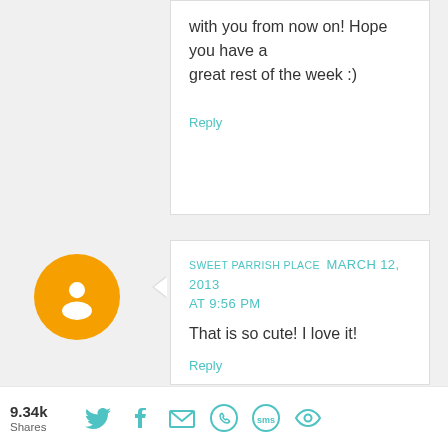with you from now on! Hope you have a great rest of the week :)
Reply
SWEET PARRISH PLACE  MARCH 12, 2013 AT 9:56 PM
That is so cute! I love it!
Reply
UNKNOWN  MARCH 13, 2013 AT 8:51 AM
LOVE this!!! Pinned it and will be attempting to make my own.

Thanks for sharing!
Julie
9.34k Shares